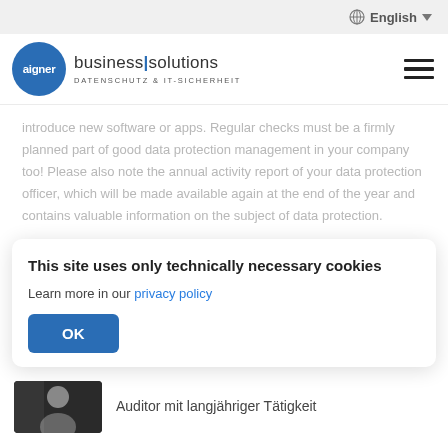English
[Figure (logo): Aigner business|solutions - Datenschutz & IT-Sicherheit logo with blue circle]
introduce new software or apps. Regular checks must be a firmly planned part of good data protection management in your company too! Please also note the annual activity report of your data protection officer, which will be made available again at the end of the year and contains valuable information on the subject of data protection.
This site uses only technically necessary cookies
Learn more in our privacy policy
OK
Auditor mit langjähriger Tätigkeit